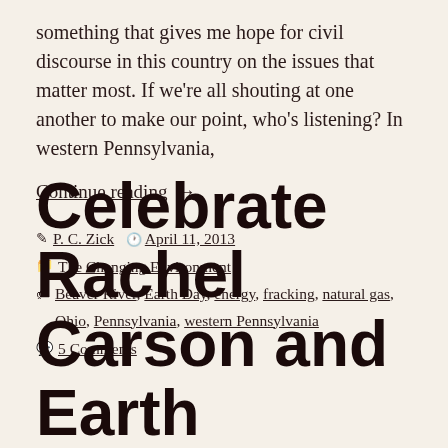something that gives me hope for civil discourse in this country on the issues that matter most. If we're all shouting at one another to make our point, who's listening? In western Pennsylvania,
Continue reading →
P. C. Zick  April 11, 2013
The Changing Environment
Beaver River, Earth Day, energy, fracking, natural gas, Ohio, Pennsylvania, western Pennsylvania
5 Comments
Celebrate Rachel Carson and Earth